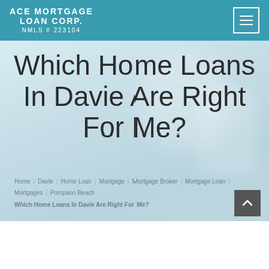ACE MORTGAGE LOAN CORP. NMLS # 223104
Which Home Loans In Davie Are Right For Me?
Home | Davie | Home Loan | Mortgage | Mortgage Broker | Mortgage Loan | Mortgages | Pompano Beach | Which Home Loans In Davie Are Right For Me?